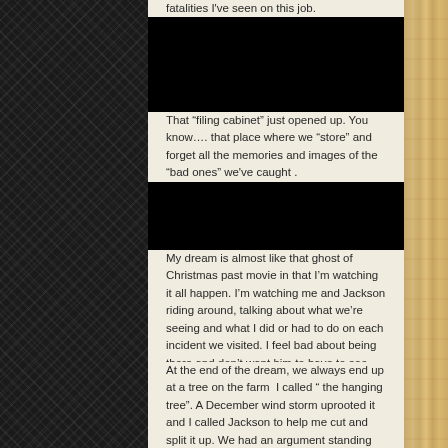fatalities I've seen on this job.
That “filing cabinet” just opened up. You know…. that place where we “store” and forget all the memories and images of the “bad ones” we've caught .
My dream is almost like that ghost of Christmas past movie in that I'm watching it all happen. I'm watching me and Jackson riding around, talking about what we're seeing and what I did or had to do on each incident we visited. I feel bad about being there and don't want him to have to see these things. I wan't to get back on the bike and hurry home to Granny's but he keeps us there…. asking questions.
At the end of the dream, we always end up at a tree on the farm  I called “ the hanging tree”. A December wind storm uprooted it and I called Jackson to help me cut and split it up. We had an argument standing there that morning and he left mad. I told him to go. That was just a week or so before his death and the last lengthy conversation we had. I'd give anything to have that morning back